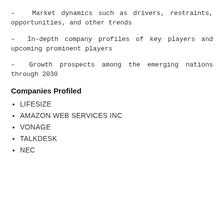– Market dynamics such as drivers, restraints, opportunities, and other trends
– In-depth company profiles of key players and upcoming prominent players
– Growth prospects among the emerging nations through 2030
Companies Profiled
LIFESIZE
AMAZON WEB SERVICES INC
VONAGE
TALKDESK
NEC